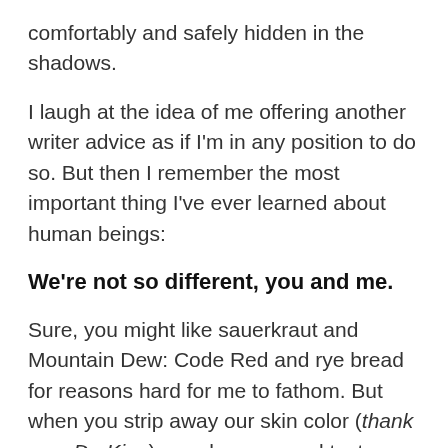comfortably and safely hidden in the shadows.
I laugh at the idea of me offering another writer advice as if I'm in any position to do so. But then I remember the most important thing I've ever learned about human beings:
We're not so different, you and me.
Sure, you might like sauerkraut and Mountain Dew: Code Red and rye bread for reasons hard for me to fathom. But when you strip away our skin color (thank you, Dr. King), gender, personal tastes and cultural differences? We are remarkably, miraculously, beautifully (and